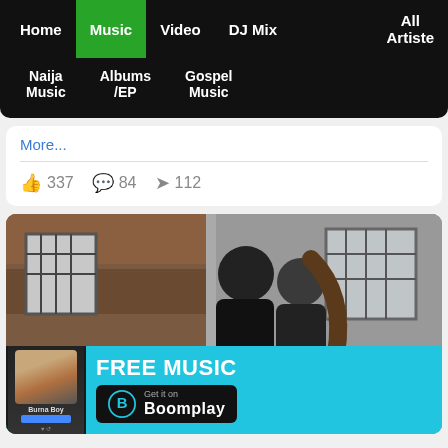Home | Music | Video | DJ Mix | All Artiste | Naija Music | Albums /EP | Gospel Music
More...
337 likes  84 comments  112 shares
[Figure (photo): Couple standing close together outdoors near a stone building with iron window grille]
[Figure (infographic): Boomplay ad banner: FREE MUSIC - Get it on Boomplay, showing Burna Boy artist profile on app screenshot]